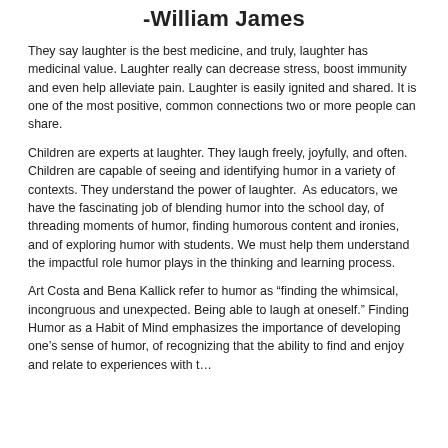-William James
They say laughter is the best medicine, and truly, laughter has medicinal value. Laughter really can decrease stress, boost immunity and even help alleviate pain. Laughter is easily ignited and shared. It is one of the most positive, common connections two or more people can share.
Children are experts at laughter. They laugh freely, joyfully, and often. Children are capable of seeing and identifying humor in a variety of contexts. They understand the power of laughter.  As educators, we have the fascinating job of blending humor into the school day, of threading moments of humor, finding humorous content and ironies, and of exploring humor with students. We must help them understand the impactful role humor plays in the thinking and learning process.
Art Costa and Bena Kallick refer to humor as “finding the whimsical, incongruous and unexpected. Being able to laugh at oneself.” Finding Humor as a Habit of Mind emphasizes the importance of developing one’s sense of humor, of recognizing that the ability to find and enjoy and relate to experiences with t...